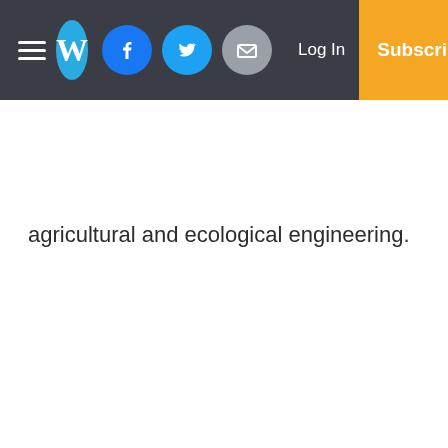Navigation bar with hamburger menu, W logo, Facebook, Twitter, Email icons, Log In button, and Subscribe button
agricultural and ecological engineering.